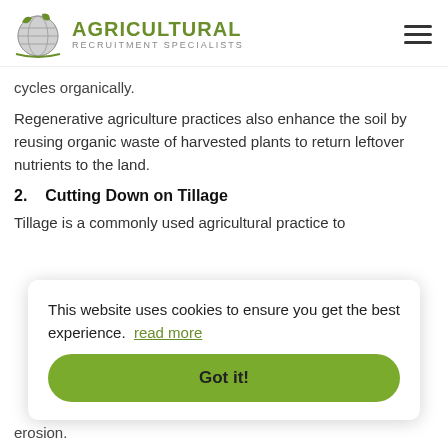[Figure (logo): Agricultural Recruitment Specialists logo with globe and green leaves]
cycles organically.
Regenerative agriculture practices also enhance the soil by reusing organic waste of harvested plants to return leftover nutrients to the land.
2.    Cutting Down on Tillage
Tillage is a commonly used agricultural practice to
This website uses cookies to ensure you get the best experience.  read more
Got it!
erosion.